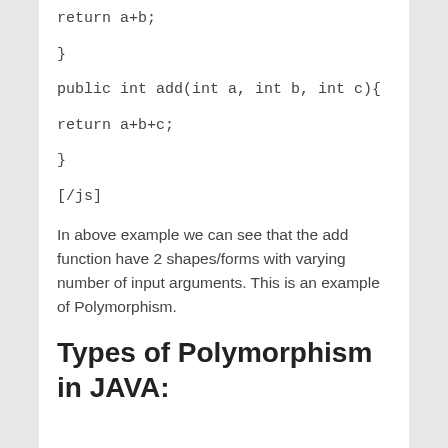return a+b;

}

public int add(int a, int b, int c){

return a+b+c;

}

[/js]
In above example we can see that the add function have 2 shapes/forms with varying number of input arguments. This is an example of Polymorphism.
Types of Polymorphism in JAVA: